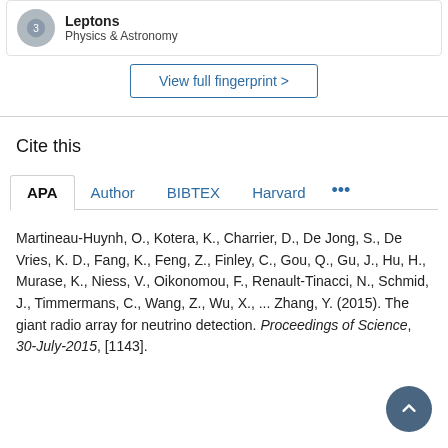Leptons
Physics & Astronomy
View full fingerprint >
Cite this
APA | Author | BIBTEX | Harvard | ...
Martineau-Huynh, O., Kotera, K., Charrier, D., De Jong, S., De Vries, K. D., Fang, K., Feng, Z., Finley, C., Gou, Q., Gu, J., Hu, H., Murase, K., Niess, V., Oikonomou, F., Renault-Tinacci, N., Schmid, J., Timmermans, C., Wang, Z., Wu, X., ... Zhang, Y. (2015). The giant radio array for neutrino detection. Proceedings of Science, 30-July-2015, [1143].